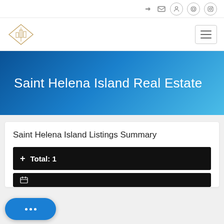[Figure (logo): Real estate company logo - diamond shape with cityscape inside, text below]
Saint Helena Island Real Estate
Saint Helena Island Listings Summary
Total: 1